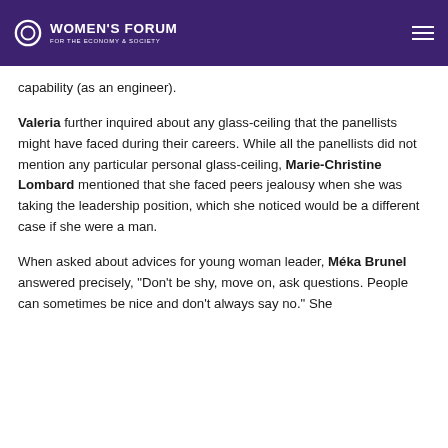WOMEN'S FORUM FOR THE ECONOMY & SOCIETY
capability (as an engineer).
Valeria further inquired about any glass-ceiling that the panellists might have faced during their careers. While all the panellists did not mention any particular personal glass-ceiling, Marie-Christine Lombard mentioned that she faced peers jealousy when she was taking the leadership position, which she noticed would be a different case if she were a man.
When asked about advices for young woman leader, Méka Brunel answered precisely, "Don't be shy, move on, ask questions. People can sometimes be nice and don't always say no." She